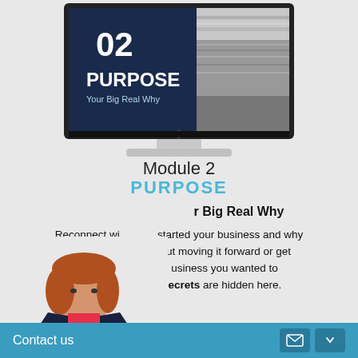[Figure (illustration): iMac computer monitor displaying a course module screen with number 02, PURPOSE, and Your Big Real Why text on a dark navy background, with a black and white coastal photo on the right side]
Module 2
PURPOSE
Your Big Real Why
Reconnect with what started your business and why you were excited about moving it forward or get excited about the business you wanted to start. Our biggest secrets are hidden here.
[Figure (photo): Woman with red hair wearing a navy blazer and pink top with a necklace]
Contact us